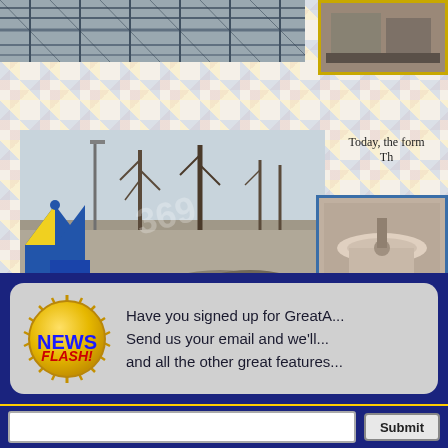[Figure (photo): Black and white photo of metal scaffolding or bleacher structure outdoors]
[Figure (photo): Small photo in upper right with yellow border showing construction or attraction area]
[Figure (photo): Large photo of amusement park area with blue and yellow striped circus tent on left, bare trees, open paved area, watermark overlay]
Today, the form Th
[Figure (photo): Small photo with blue border showing carousel or merry-go-round ride]
[Figure (infographic): News Flash badge - yellow circular badge with NEWS FLASH text, with message: Have you signed up for GreatA... Send us your email and we'll... and all the other great features]
Have you signed up for GreatA... Send us your email and we'll... and all the other great features
Submit